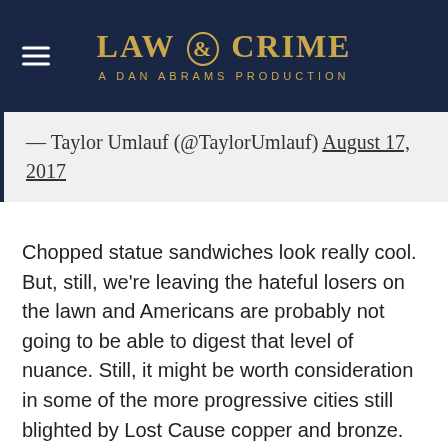LAW & CRIME — A DAN ABRAMS PRODUCTION
— Taylor Umlauf (@TaylorUmlauf) August 17, 2017
Chopped statue sandwiches look really cool. But, still, we're leaving the hateful losers on the lawn and Americans are probably not going to be able to digest that level of nuance. Still, it might be worth consideration in some of the more progressive cities still blighted by Lost Cause copper and bronze.
But here's an idea with a popular message and potentially broad-base of support: melt down all